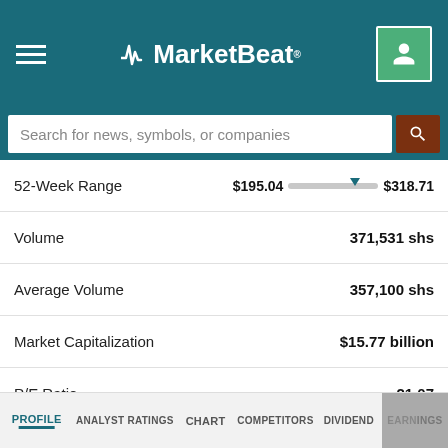MarketBeat
Search for news, symbols, or companies
| Metric | Value |
| --- | --- |
| 52-Week Range | $195.04 — $318.71 |
| Volume | 371,531 shs |
| Average Volume | 357,100 shs |
| Market Capitalization | $15.77 billion |
| P/E Ratio | 21.07 |
| Dividend Yield | 0.95% |
| Price Target | $307.00 |
PROFILE  ANALYST RATINGS  CHART  COMPETITORS  DIVIDEND  EARNINGS